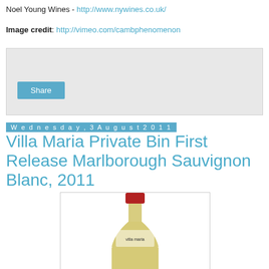Noel Young Wines - http://www.nywines.co.uk/
Image credit: http://vimeo.com/cambphenomenon
[Figure (other): Social share widget box with a Share button]
Wednesday, 3 August 2011
Villa Maria Private Bin First Release Marlborough Sauvignon Blanc, 2011
[Figure (photo): Photo of a wine bottle with red cap and yellow-green wine, Villa Maria Private Bin Marlborough Sauvignon Blanc 2011]